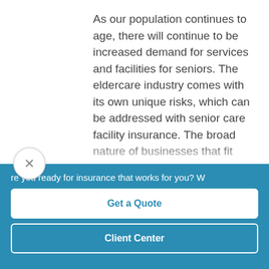As our population continues to age, there will continue to be increased demand for services and facilities for seniors. The eldercare industry comes with its own unique risks, which can be addressed with senior care facility insurance. The broad nature of businesses that fit this category means there isn't a one-size-fits-all model. However, there are some coverages that any...
re you ready for insurance that works for you? W
Get a Quote
Client Center